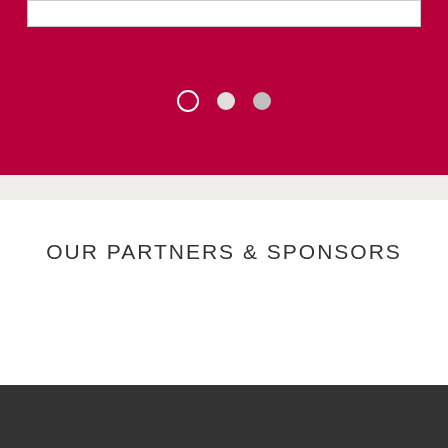[Figure (screenshot): Red banner section with a white input/search bar at top and three navigation dots (one outlined, two filled) centered on the red background]
OUR PARTNERS & SPONSORS
© Welsh Athletics Ltd.